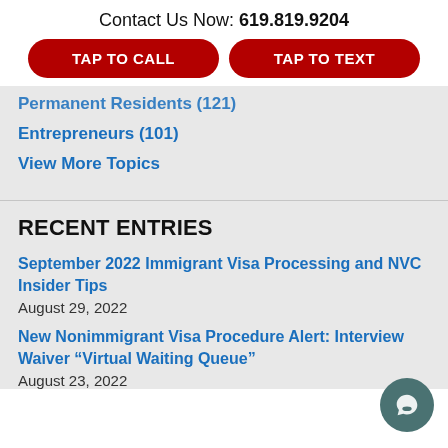Contact Us Now: 619.819.9204
TAP TO CALL
TAP TO TEXT
Permanent Residents (121)
Entrepreneurs (101)
View More Topics
RECENT ENTRIES
September 2022 Immigrant Visa Processing and NVC Insider Tips
August 29, 2022
New Nonimmigrant Visa Procedure Alert: Interview Waiver “Virtual Waiting Queue”
August 23, 2022